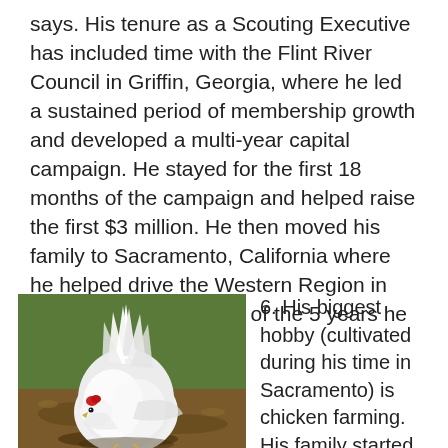says. His tenure as a Scouting Executive has included time with the Flint River Council in Griffin, Georgia, where he led a sustained period of membership growth and developed a multi-year capital campaign. He stayed for the first 18 months of the campaign and helped raise the first $3 million. He then moved his family to Sacramento, California where he helped drive the Western Region in Cub Scout growth for 4 of the 5 years he was there.
[Figure (photo): A white chicken standing on dirt/grass ground, viewed from behind at a slight angle, showing its white feathers and small red comb.]
6. His biggest hobby (cultivated during his time in Sacramento) is chicken farming. His family started with 8 chickens, that number doubled in the spring when Katie and the